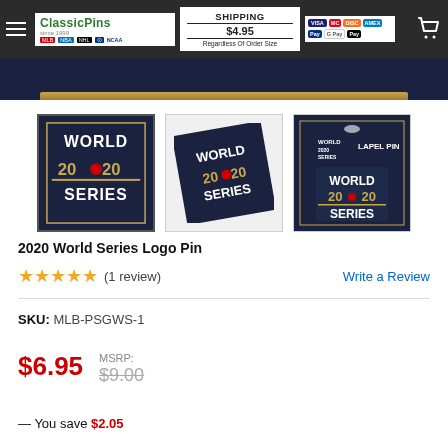ClassicPins | SHIPPING $4.95 Regardless Of Order Size | VISA MasterCard Discover AMEX PayPal GPay ApplePay
[Figure (photo): Product image strip showing dark blue background, partial view of a World Series 2020 pin packaging]
[Figure (photo): Three thumbnail images of 2020 World Series Logo Pin: front face, angled view, and retail packaging with 'LAPEL PIN' label]
2020 World Series Logo Pin
★★★★★ (1 review)   Write a Review
SKU:  MLB-PSGWS-1
$6.95   MSRP: $9.00
— You save $2.05